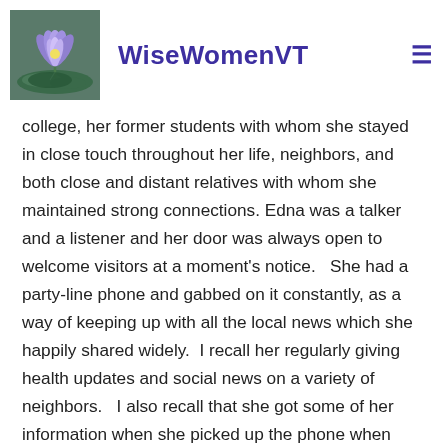WiseWomenVT
college, her former students with whom she stayed in close touch throughout her life, neighbors, and both close and distant relatives with whom she maintained strong connections. Edna was a talker and a listener and her door was always open to welcome visitors at a moment's notice.   She had a party-line phone and gabbed on it constantly, as a way of keeping up with all the local news which she happily shared widely.  I recall her regularly giving health updates and social news on a variety of neighbors.   I also recall that she got some of her information when she picked up the phone when someone else was talking, took a moment to listen in and asked questions to get more details.   She was a relentless talker and listener on the phone and in person and she connected